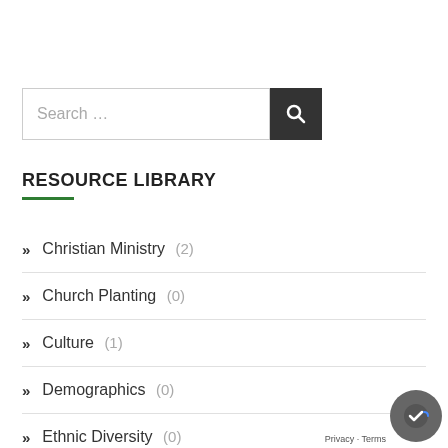[Figure (screenshot): Search input box with placeholder text 'Search ...' and a dark search button with magnifying glass icon]
RESOURCE LIBRARY
Christian Ministry (2)
Church Planting (0)
Culture (1)
Demographics (0)
Ethnic Diversity (0)